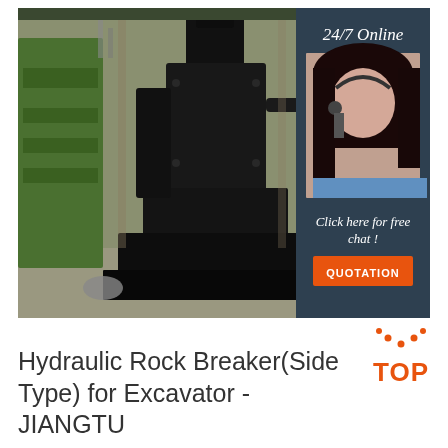[Figure (photo): Photo of a large hydraulic rock breaker (side type) machine in a workshop/garage setting. A man in dark clothing stands beside the large black hydraulic breaker equipment. There is green industrial machinery visible in the background. An overlay panel on the right side shows '24/7 Online' text, a photo of a female customer service representative wearing a headset, text 'Click here for free chat!' and an orange 'QUOTATION' button.]
Hydraulic Rock Breaker(Side Type) for Excavator - JIANGTU